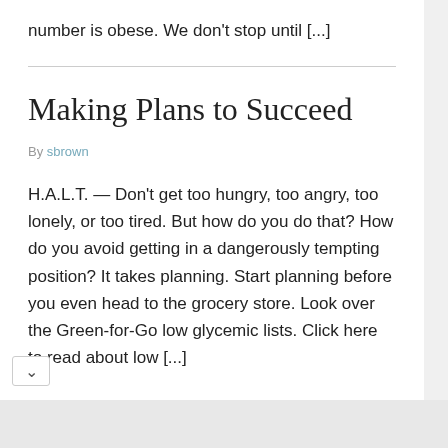number is obese.  We don't stop until [...]
Making Plans to Succeed
By sbrown
H.A.L.T. — Don't get too hungry, too angry, too lonely, or too tired.  But how do you do that?  How do you avoid getting in a dangerously tempting position? It takes planning.  Start planning before you even head to the grocery store.  Look over the Green-for-Go low glycemic lists. Click here to read about low [...]